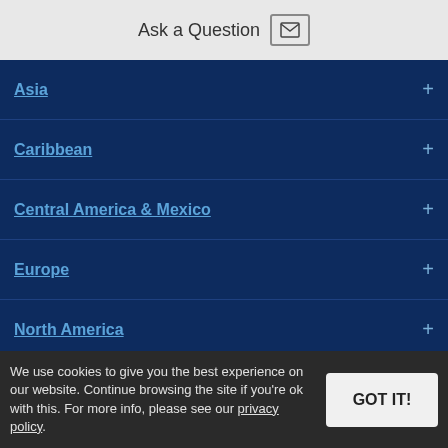Ask a Question
Asia +
Caribbean +
Central America & Mexico +
Europe +
North America +
Polar Regions +
South America +
We use cookies to give you the best experience on our website. Continue browsing the site if you're ok with this. For more info, please see our privacy policy.